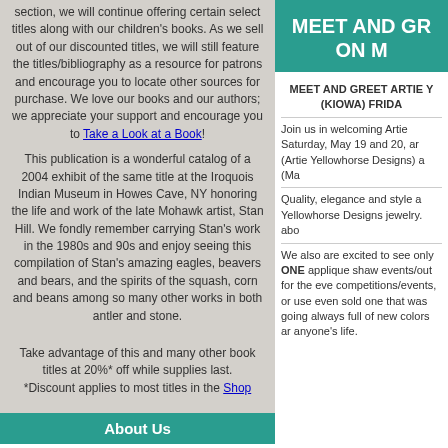section, we will continue offering certain select titles along with our children's books. As we sell out of our discounted titles, we will still feature the titles/bibliography as a resource for patrons and encourage you to locate other sources for purchase. We love our books and our authors; we appreciate your support and encourage you to Take a Look at a Book!
This publication is a wonderful catalog of a 2004 exhibit of the same title at the Iroquois Indian Museum in Howes Cave, NY honoring the life and work of the late Mohawk artist, Stan Hill. We fondly remember carrying Stan's work in the 1980s and 90s and enjoy seeing this compilation of Stan's amazing eagles, beavers and bears, and the spirits of the squash, corn and beans among so many other works in both antler and stone.
Take advantage of this and many other book titles at 20%* off while supplies last. *Discount applies to most titles in the Shop
About Us
The Indian Craft Shop - a museum experience, an oasis of arts, a great escape from daily pressures and, of course, a great place to treat yourself or someone near and dear to a special, meaningful gift. Thank you for your continued support of the arts... we truly appreciate you!
MEET AND GREET ON M
MEET AND GREET ARTIE Y (KIOWA) FRIDA
Join us in welcoming Artie Saturday, May 19 and 20, ar (Artie Yellowhorse Designs) a (Ma
Quality, elegance and style a Yellowhorse Designs jewelry. abo
We also are excited to see only ONE applique shaw events/out for the eve competitions/events, or use even sold one that was going always full of new colors ar anyone's life.